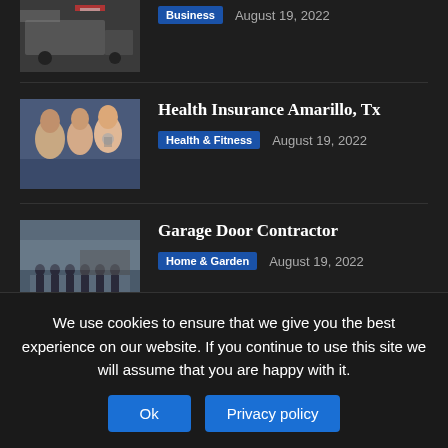[Figure (photo): Partial view of a truck/logistics image at top of page]
Business | August 19, 2022
[Figure (photo): Doctor examining a child with parents present - health insurance related image]
Health Insurance Amarillo, Tx
Health & Fitness | August 19, 2022
[Figure (photo): Group of people standing in front of a building - garage door contractor team]
Garage Door Contractor
Home & Garden | August 19, 2022
POPULAR POSTS
[Figure (photo): Motorcycle related image - partial view]
Top Tips For Preventing Motorcycle
We use cookies to ensure that we give you the best experience on our website. If you continue to use this site we will assume that you are happy with it.